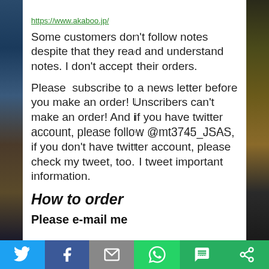https://www.akaboo.jp/
Some customers don't follow notes despite that they read and understand notes. I don't accept their orders.
Please  subscribe to a news letter before you make an order! Unscribers can't make an order! And if you have twitter account, please follow @mt3745_JSAS, if you don't have twitter account, please check my tweet, too. I tweet important information.
How to order
Please e-mail me